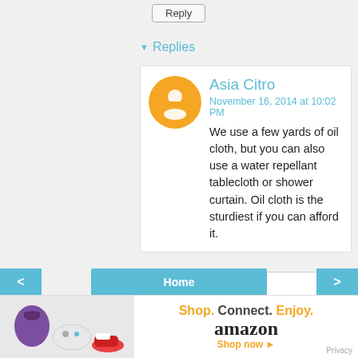Reply
▾ Replies
Asia Citro
November 16, 2014 at 10:02 PM
We use a few yards of oil cloth, but you can also use a water repellant tablecloth or shower curtain. Oil cloth is the sturdiest if you can afford it.
Reply
< Home >
[Figure (infographic): Amazon advertisement banner: products image on left, 'Shop. Connect. Enjoy. amazon Shop now' text, Privacy link bottom right.]